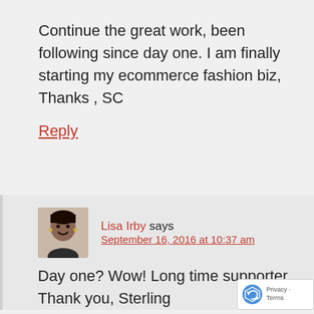Continue the great work, been following since day one. I am finally starting my ecommerce fashion biz, Thanks , SC
Reply
Lisa Irby says
September 16, 2016 at 10:37 am
Day one? Wow! Long time supporter. Thank you, Sterling